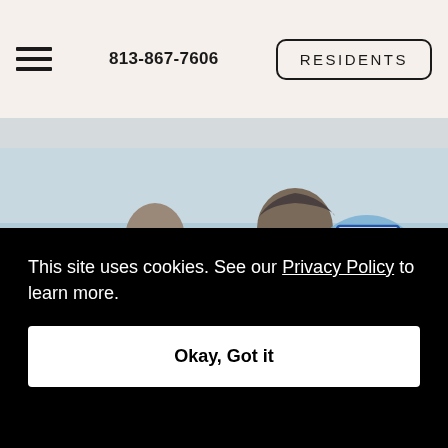813-867-7606  RESIDENTS
[Figure (photo): Older couple sitting together on a beach, viewed from behind, woman with grey hair and glasses looking toward man]
[Figure (illustration): Welcome door illustration with blue circle background and 'I can help!' speech bubble]
This site uses cookies. See our Privacy Policy to learn more.
Okay, Got it